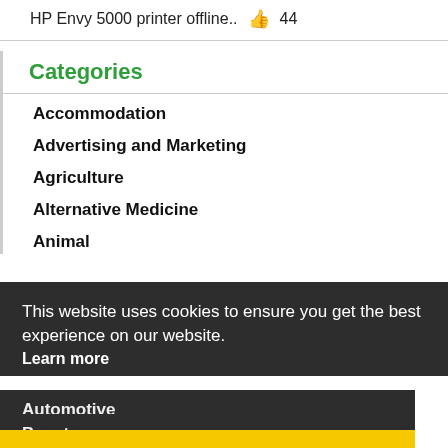HP Envy 5000 printer offline.. 👍 44
Categories
Accommodation
Advertising and Marketing
Agriculture
Alternative Medicine
Animal
This website uses cookies to ensure you get the best experience on our website. Learn more
Automotive
Beauty
Booking
Got it!
Business
Communication